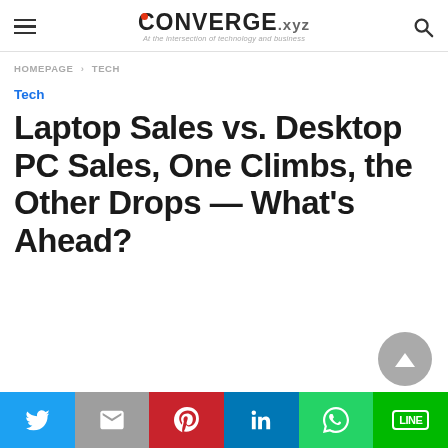CONVERGE.xyz — At the intersection of technology and business
HOMEPAGE › TECH
Tech
Laptop Sales vs. Desktop PC Sales, One Climbs, the Other Drops — What's Ahead?